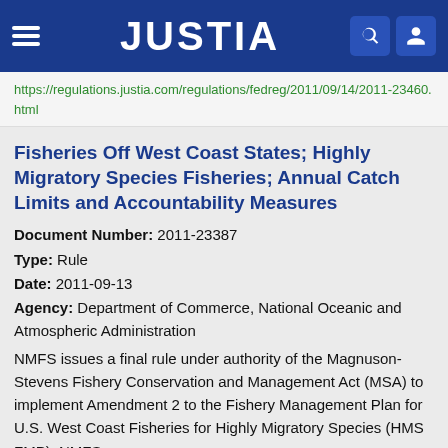JUSTIA
https://regulations.justia.com/regulations/fedreg/2011/09/14/2011-23460.html
Fisheries Off West Coast States; Highly Migratory Species Fisheries; Annual Catch Limits and Accountability Measures
Document Number: 2011-23387
Type: Rule
Date: 2011-09-13
Agency: Department of Commerce, National Oceanic and Atmospheric Administration
NMFS issues a final rule under authority of the Magnuson- Stevens Fishery Conservation and Management Act (MSA) to implement Amendment 2 to the Fishery Management Plan for U.S. West Coast Fisheries for Highly Migratory Species (HMS FMP). NMFS